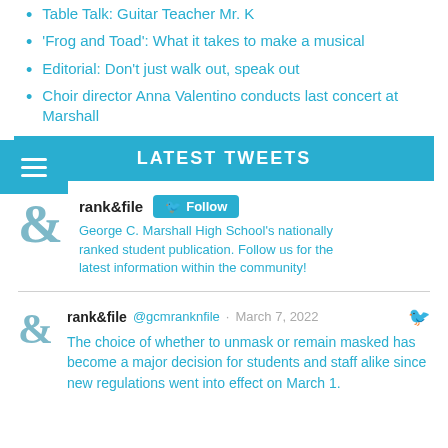Table Talk: Guitar Teacher Mr. K
'Frog and Toad': What it takes to make a musical
Editorial: Don't just walk out, speak out
Choir director Anna Valentino conducts last concert at Marshall
LATEST TWEETS
rank&file Follow
George C. Marshall High School's nationally ranked student publication. Follow us for the latest information within the community!
rank&file @gcmranknfile · March 7, 2022
The choice of whether to unmask or remain masked has become a major decision for students and staff alike since new regulations went into effect on March 1.